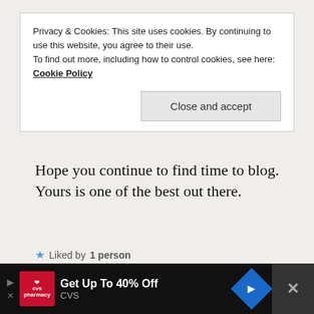Privacy & Cookies: This site uses cookies. By continuing to use this website, you agree to their use. To find out more, including how to control cookies, see here: Cookie Policy
Close and accept
Hope you continue to find time to blog. Yours is one of the best out there.
Liked by 1 person
Reply
EARLYRETIREMENTNOW.COM
July 24, 2019 at 11:38 pm
[Figure (other): CVS Pharmacy advertisement banner at bottom. Get Up To 40% Off CVS.]